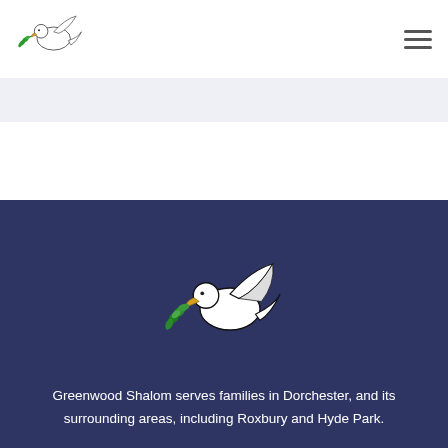[Figure (logo): Greenwood Shalom dove logo — white dove carrying a green olive branch, line art style]
[Figure (logo): Hamburger menu icon — three horizontal lines]
[Figure (illustration): Large Greenwood Shalom dove logo on dark navy background — white dove carrying a green olive branch]
Greenwood Shalom serves families in Dorchester, and its surrounding areas, including Roxbury and Hyde Park.